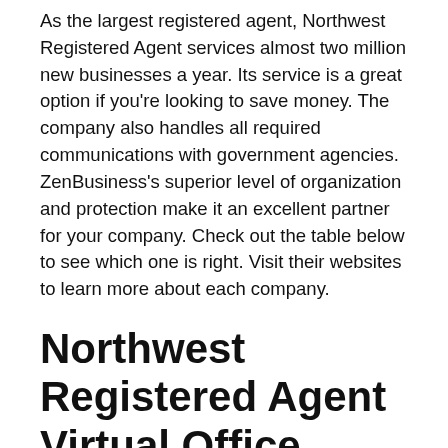As the largest registered agent, Northwest Registered Agent services almost two million new businesses a year. Its service is a great option if you’re looking to save money. The company also handles all required communications with government agencies. ZenBusiness’s superior level of organization and protection make it an excellent partner for your company. Check out the table below to see which one is right. Visit their websites to learn more about each company.
Northwest Registered Agent Virtual Office
Northwest Registered Agent is a great company to consider if you’re looking to